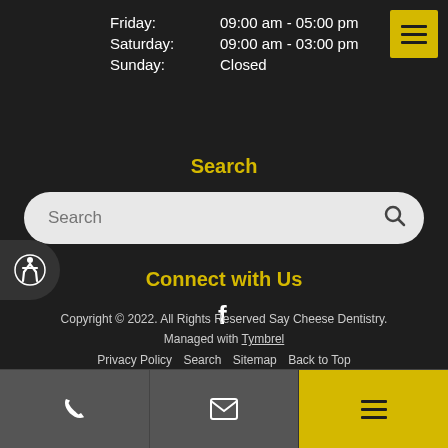Friday: 09:00 am - 05:00 pm
Saturday: 09:00 am - 03:00 pm
Sunday: Closed
[Figure (other): Yellow hamburger menu button in top right corner]
Search
[Figure (other): Search input bar with magnifying glass icon]
[Figure (other): Accessibility icon button on left side]
Connect with Us
[Figure (other): Facebook icon]
Copyright © 2022. All Rights Reserved Say Cheese Dentistry.
Managed with Tymbrel
Privacy Policy  Search  Sitemap  Back to Top
[Figure (other): Bottom navigation bar with phone icon, email icon, and yellow hamburger menu]